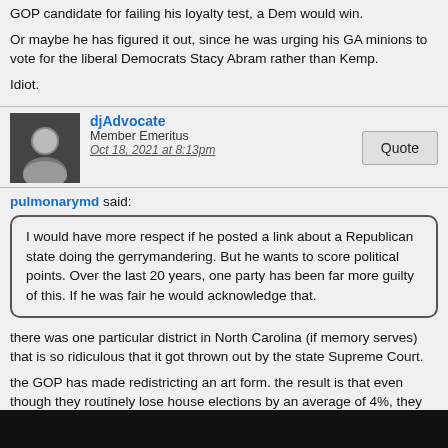GOP candidate for failing his loyalty test, a Dem would win.
Or maybe he has figured it out, since he was urging his GA minions to vote for the liberal Democrats Stacy Abram rather than Kemp.
Idiot.
djAdvocate
Member Emeritus
Oct 18, 2021 at 8:13pm
pulmonarymd said:
I would have more respect if he posted a link about a Republican state doing the gerrymandering. But he wants to score political points. Over the last 20 years, one party has been far more guilty of this. If he was fair he would acknowledge that.
there was one particular district in North Carolina (if memory serves) that is so ridiculous that it got thrown out by the state Supreme Court.
the GOP has made redistricting an art form. the result is that even though they routinely lose house elections by an average of 4%, they have roughly the same number of seats since 2010. which means, of course, they are already disenfranchising 4% of US voters.  what they are doing lately is